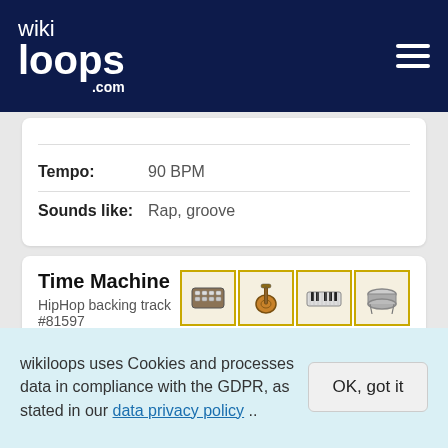wikiloops.com
Tempo: 90 BPM
Sounds like: Rap, groove
Time Machine
HipHop backing track #81597
[Figure (illustration): Four instrument icons in golden-bordered boxes: drum machine, guitar/bass, keyboard, snare drum. Below: a music notation icon with sharp/flat symbols.]
Tempo: 80 BPM
wikiloops uses Cookies and processes data in compliance with the GDPR, as stated in our data privacy policy ..